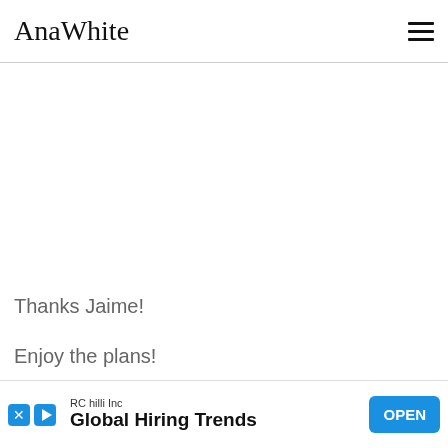AnaWhite
Thanks Jaime!
Enjoy the plans!
XO Ana
[Figure (infographic): Advertisement banner: RC hilli Inc - Global Hiring Trends - OPEN button]